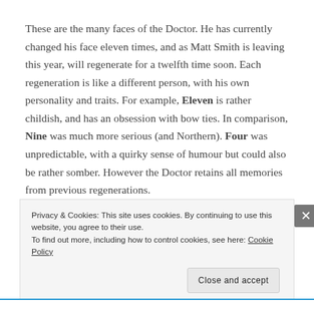These are the many faces of the Doctor. He has currently changed his face eleven times, and as Matt Smith is leaving this year, will regenerate for a twelfth time soon. Each regeneration is like a different person, with his own personality and traits. For example, Eleven is rather childish, and has an obsession with bow ties. In comparison, Nine was much more serious (and Northern). Four was unpredictable, with a quirky sense of humour but could also be rather somber. However the Doctor retains all memories from previous regenerations.
Privacy & Cookies: This site uses cookies. By continuing to use this website, you agree to their use.
To find out more, including how to control cookies, see here: Cookie Policy
Close and accept